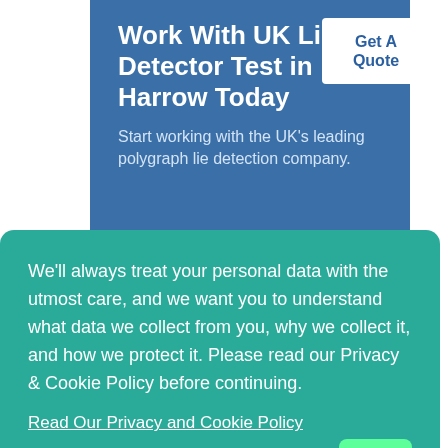Work With UK Lie Detector Test in Harrow Today
Get A Quote
Start working with the UK's leading polygraph lie detection company.
We'll always treat your personal data with the utmost care, and we want you to understand what data we collect from you, why we collect it, and how we protect it. Please read our Privacy & Cookie Policy before continuing.
Read Our Privacy and Cookie Policy
Decline
Accept